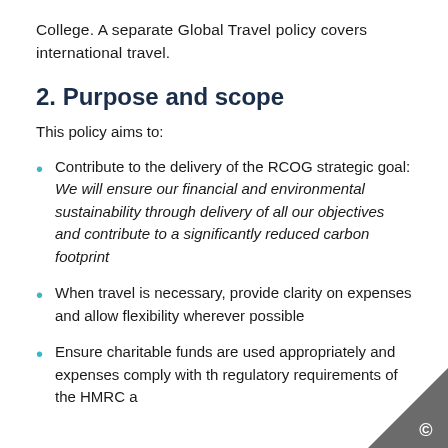College. A separate Global Travel policy covers international travel.
2. Purpose and scope
This policy aims to:
Contribute to the delivery of the RCOG strategic goal: We will ensure our financial and environmental sustainability through delivery of all our objectives and contribute to a significantly reduced carbon footprint
When travel is necessary, provide clarity on expenses and allow flexibility wherever possible
Ensure charitable funds are used appropriately and expenses comply with the regulatory requirements of the HMRC a...